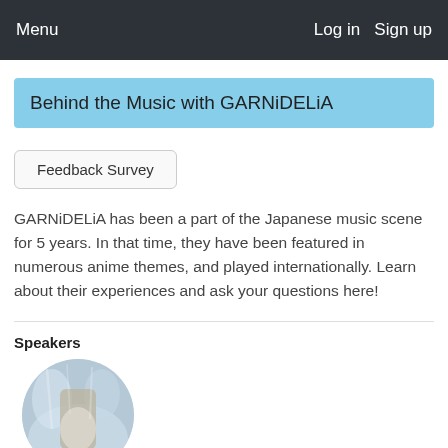Menu   Log in   Sign up
Behind the Music with GARNiDELiA
Feedback Survey
GARNiDELiA has been a part of the Japanese music scene for 5 years. In that time, they have been featured in numerous anime themes, and played internationally. Learn about their experiences and ask your questions here!
Speakers
[Figure (photo): Circular profile photo of a speaker, showing a person in performance attire with a bokeh/soft background.]